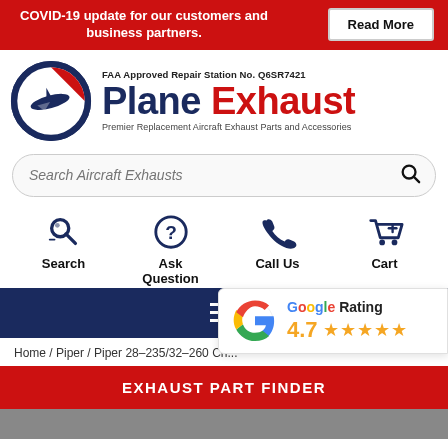COVID-19 update for our customers and business partners. Read More
[Figure (logo): Plane Exhaust logo with airplane graphic and circular emblem. FAA Approved Repair Station No. Q6SR7421. Brand name: Plane Exhaust. Tagline: Premier Replacement Aircraft Exhaust Parts and Accessories.]
Search Aircraft Exhausts
Search
Ask Question
Call Us
Cart
Home / Piper / Piper 28-235/32-260 Ch...
[Figure (infographic): Google Rating badge showing 4.7 stars out of 5]
EXHAUST PART FINDER